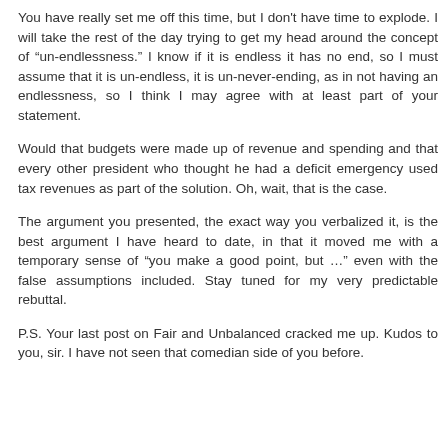You have really set me off this time, but I don't have time to explode. I will take the rest of the day trying to get my head around the concept of “un-endlessness.” I know if it is endless it has no end, so I must assume that it is un-endless, it is un-never-ending, as in not having an endlessness, so I think I may agree with at least part of your statement.
Would that budgets were made up of revenue and spending and that every other president who thought he had a deficit emergency used tax revenues as part of the solution. Oh, wait, that is the case.
The argument you presented, the exact way you verbalized it, is the best argument I have heard to date, in that it moved me with a temporary sense of “you make a good point, but …” even with the false assumptions included. Stay tuned for my very predictable rebuttal.
P.S. Your last post on Fair and Unbalanced cracked me up. Kudos to you, sir. I have not seen that comedian side of you before.